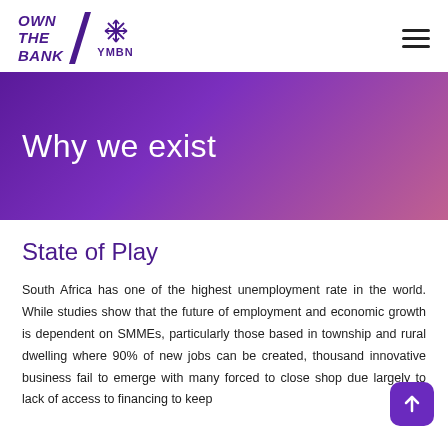OWN THE BANK / YMBN
Why we exist
State of Play
South Africa has one of the highest unemployment rate in the world. While studies show that the future of employment and economic growth is dependent on SMMEs, particularly those based in township and rural dwelling where 90% of new jobs can be created, thousand innovative business fail to emerge with many forced to close shop due largely to lack of access to financing to keep